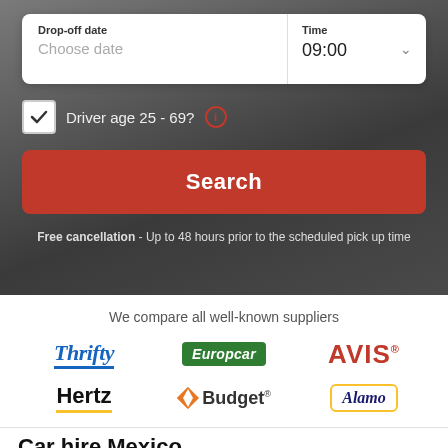[Figure (screenshot): Car hire booking form with dark road background, white form card showing Drop-off date and Time fields, checkbox for driver age, red Search button, and free cancellation note]
Drop-off date
Choose date
Time
09:00
Driver age 25 - 69?
Search
Free cancellation - Up to 48 hours prior to the scheduled pick up time
We compare all well-known suppliers
[Figure (logo): Thrifty logo]
[Figure (logo): Europcar logo]
[Figure (logo): AVIS logo]
[Figure (logo): Hertz logo]
[Figure (logo): Budget logo]
[Figure (logo): Alamo logo]
Car hire Mexico